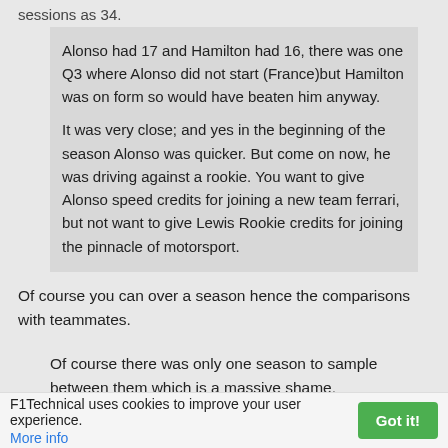sessions as 34.
Alonso had 17 and Hamilton had 16, there was one Q3 where Alonso did not start (France)but Hamilton was on form so would have beaten him anyway.
It was very close; and yes in the beginning of the season Alonso was quicker. But come on now, he was driving against a rookie. You want to give Alonso speed credits for joining a new team ferrari, but not want to give Lewis Rookie credits for joining the pinnacle of motorsport.
Of course you can over a season hence the comparisons with teammates.
Of course there was only one season to sample between them which is a massive shame.
F1Technical uses cookies to improve your user experience. More info